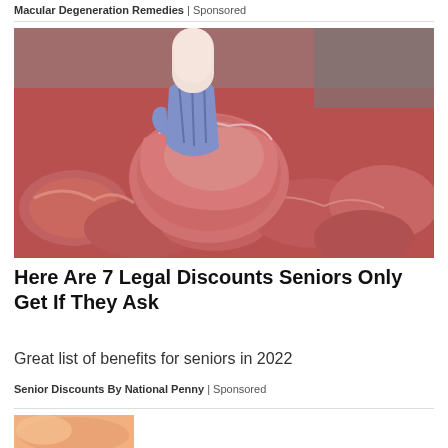Macular Degeneration Remedies | Sponsored
[Figure (photo): A butcher with a blue latex glove holding up a large cut of raw red meat above a display case filled with various cuts of raw meat.]
Here Are 7 Legal Discounts Seniors Only Get If They Ask
Great list of benefits for seniors in 2022
Senior Discounts By National Penny | Sponsored
[Figure (photo): Partial bottom image, cropped, showing warm toned content.]